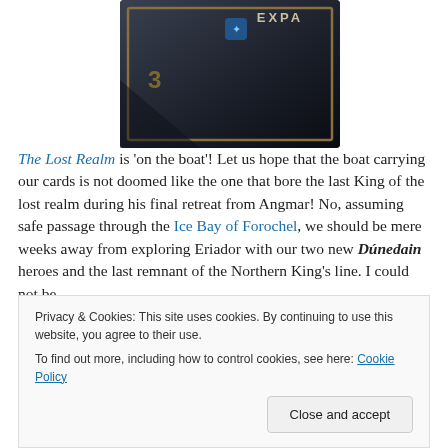[Figure (photo): Partial image of a board game expansion box with dark fantasy artwork, showing the top-left corner of the box against a white background.]
The Lost Realm is 'on the boat'! Let us hope that the boat carrying our cards is not doomed like the one that bore the last King of the lost realm during his final retreat from Angmar! No, assuming safe passage through the Ice Bay of Forochel, we should be mere weeks away from exploring Eriador with our two new Dúnedain heroes and the last remnant of the Northern King's line. I could not be
Privacy & Cookies: This site uses cookies. By continuing to use this website, you agree to their use.
To find out more, including how to control cookies, see here: Cookie Policy
Close and accept